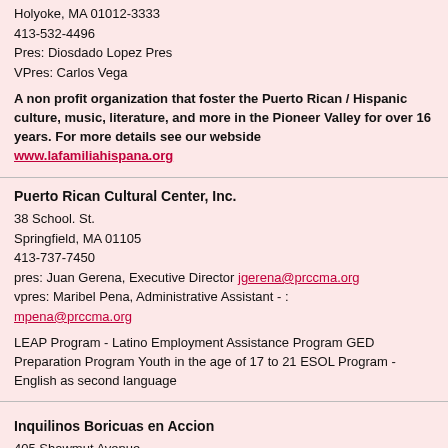Holyoke, MA 01012-3333
413-532-4496
Pres: Diosdado Lopez Pres
VPres: Carlos Vega
A non profit organization that foster the Puerto Rican / Hispanic culture, music, literature, and more in the Pioneer Valley for over 16 years. For more details see our webside www.lafamiliahispana.org
Puerto Rican Cultural Center, Inc.
38 School. St.
Springfield, MA 01105
413-737-7450
pres: Juan Gerena, Executive Director jgerena@prccma.org
vpres: Maribel Pena, Administrative Assistant - : mpena@prccma.org
LEAP Program - Latino Employment Assistance Program GED Preparation Program Youth in the age of 17 to 21 ESOL Program - English as second language
Inquilinos Boricuas en Accion
405 Shawmut Avenue
Boston, MA 02118
www.iba-etc.org
617-927-1707